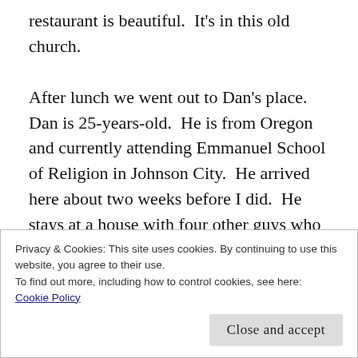restaurant is beautiful.  It's in this old church.

After lunch we went out to Dan's place.  Dan is 25-years-old.  He is from Oregon and currently attending Emmanuel School of Religion in Johnson City.  He arrived here about two weeks before I did.  He stays at a house with four other guys who attend Emmanuel.  He lives out in the country in Eastern Tennessee.  It was so beautiful out there today.  The three of them talked summer business for the youth group.  I went for a walk while they did that for their back yard is a huge mountain
Privacy & Cookies: This site uses cookies. By continuing to use this website, you agree to their use.
To find out more, including how to control cookies, see here:
Cookie Policy
Close and accept